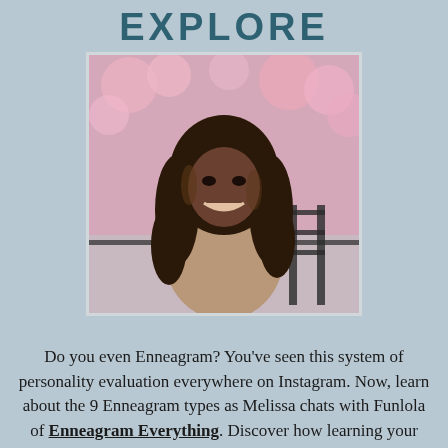EXPLORE
[Figure (photo): Portrait photo of a smiling woman with long curly hair, wearing a beige knit sweater, standing in front of blooming pink cherry blossom trees]
Do you even Enneagram? You've seen this system of personality evaluation everywhere on Instagram. Now, learn about the 9 Enneagram types as Melissa chats with Funlola of Enneagram Everything. Discover how learning your type can empower you towards